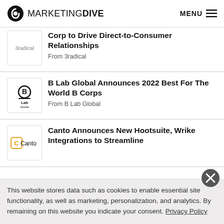MARKETING DIVE  MENU
Corp to Drive Direct-to-Consumer Relationships
From 3radical
B Lab Global Announces 2022 Best For The World B Corps
From B Lab Global
Canto Announces New Hootsuite, Wrike Integrations to Streamline
This website stores data such as cookies to enable essential site functionality, as well as marketing, personalization, and analytics. By remaining on this website you indicate your consent. Privacy Policy